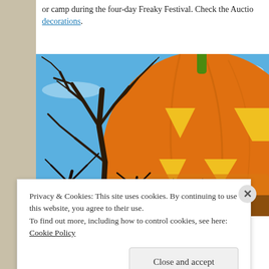or camp during the four-day Freaky Festival. Check the Auction House for decorations.
[Figure (illustration): A Halloween-themed illustration showing a large carved jack-o'-lantern pumpkin (orange with yellow triangle eyes and mouth cutouts) against a blue sky, with bare spooky dark tree branches in the foreground.]
Privacy & Cookies: This site uses cookies. By continuing to use this website, you agree to their use.
To find out more, including how to control cookies, see here: Cookie Policy
Close and accept